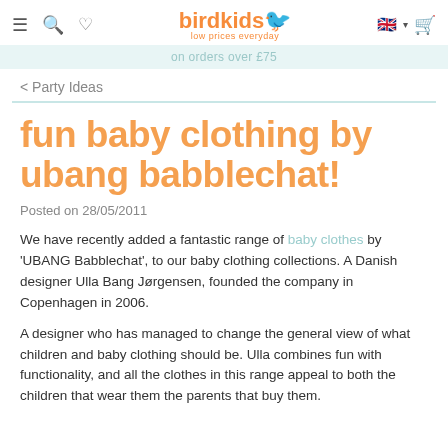birdkids low prices everyday
on orders over £75
< Party Ideas
fun baby clothing by ubang babblechat!
Posted on 28/05/2011
We have recently added a fantastic range of baby clothes by 'UBANG Babblechat', to our baby clothing collections. A Danish designer Ulla Bang Jørgensen, founded the company in Copenhagen in 2006.
A designer who has managed to change the general view of what children and baby clothing should be. Ulla combines fun with functionality, and all the clothes in this range appeal to both the children that wear them the parents that buy them.